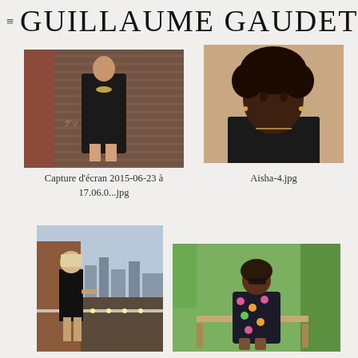GUILLAUME GAUDET
[Figure (photo): Woman in black graphic t-shirt dress standing against a corrugated metal wall with graffiti, urban street setting]
[Figure (photo): Portrait of a Black woman with natural curly hair wearing a black top and necklace against a tan background]
Capture d'écran 2015-06-23 à 17.06.0...jpg
Aisha-4.jpg
[Figure (photo): Blonde woman in black dress standing on a city rooftop balcony with urban skyline in background]
[Figure (photo): Woman in floral dress sitting on a bench in a green park setting]